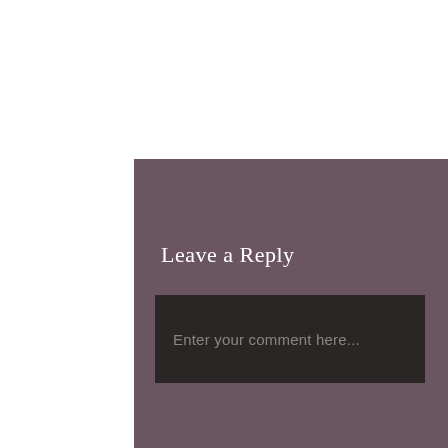Leave a Reply
Enter your comment here...